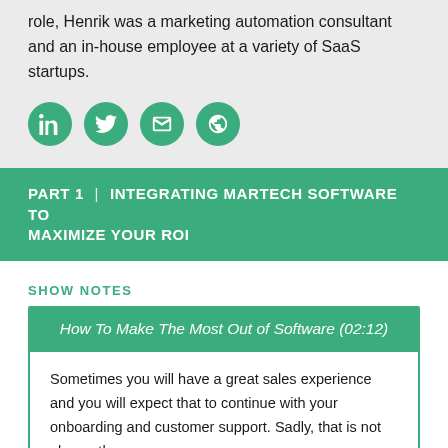role, Henrik was a marketing automation consultant and an in-house employee at a variety of SaaS startups.
[Figure (illustration): Four green circular social media icons: LinkedIn, Twitter, Twitter/envelope, and globe/website icons]
PART 1 | INTEGRATING MARTECH SOFTWARE TO MAXIMIZE YOUR ROI
SHOW NOTES
How To Make The Most Out of Software (02:12)
Sometimes you will have a great sales experience and you will expect that to continue with your onboarding and customer support. Sadly, that is not always the case.